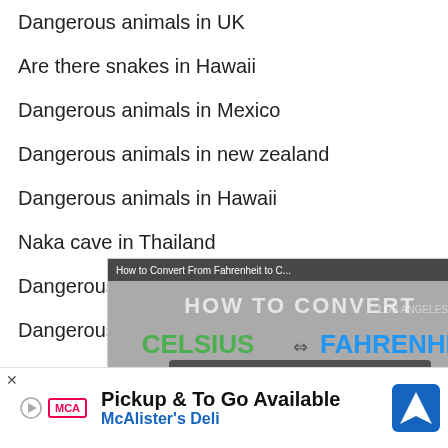Dangerous animals in UK
Are there snakes in Hawaii
Dangerous animals in Mexico
Dangerous animals in new zealand
Dangerous animals in Hawaii
Naka cave in Thailand
Dangerous animals in Ohio
Dangerous animals in Vietnam
Dangerous Animals in Ireland
[Figure (screenshot): Video popup overlay titled 'How to Convert From Fahrenheit to C...' with a Celsius to Fahrenheit conversion graphic and a 'No compatible source was found for this media.' message. Has a close (X) button. Background shows HOW TO CONVERT with CELSIUS and FAHRENHEIT text and C→F and F→C sections.]
[Figure (screenshot): Advertisement banner for McAlister's Deli reading 'Pickup & To Go Available' with McAlister's Deli logo and a navigation/map icon on the right.]